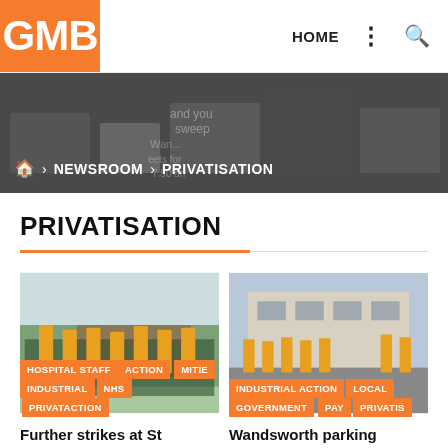GMB | HOME
[Figure (photo): GMB newsroom hero banner with protest signs in black and white background, breadcrumb navigation showing home > NEWSROOM > PRIVATISATION]
PRIVATISATION
[Figure (photo): Photo of hospital staff action protest with orange GMB flags and signs outside a red brick building, tagged: HOSPITAL STAFF ACTION, MITIE, INDUSTRIAL, NHS, PRIVATACTION]
[Figure (photo): Photo of GMB protest outside a government building, tagged: INDUSTRIAL ACTION, LOCAL, GOVERNMENT, PAY, PRIVATIS]
Further strikes at St
Wandsworth parking